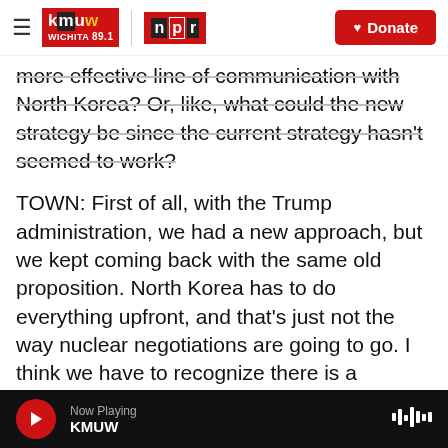KMUW Wichita 89.1 | NPR | Donate
more effective line of communication with North Korea? Or, like, what could the new strategy be since the current strategy hasn't seemed to work?
TOWN: First of all, with the Trump administration, we had a new approach, but we kept coming back with the same old proposition. North Korea has to do everything upfront, and that's just not the way nuclear negotiations are going to go. I think we have to recognize there is a security component to North Korea's nuclear program. It's not just for coercive purposes. And so when the security environment in Asia is getting worse and all the
Now Playing KMUW